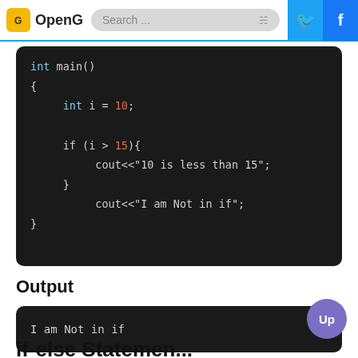OpenG | Search...
[Figure (screenshot): C++ code block showing int main() function with if statement: int i = 10; if (i > 15){ cout<<"10 is less than 15"; } cout<<"I am Not in if";]
Output
[Figure (screenshot): Output terminal showing: I am Not in if]
if-else Statement in C++